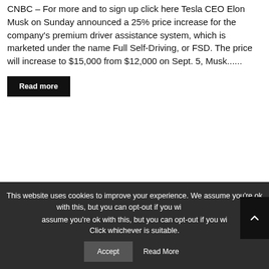CNBC – For more and to sign up click here Tesla CEO Elon Musk on Sunday announced a 25% price increase for the company's premium driver assistance system, which is marketed under the name Full Self-Driving, or FSD. The price will increase to $15,000 from $12,000 on Sept. 5, Musk......
Read more
This website uses cookies to improve your experience. We assume you're ok with this, but you can opt-out if you wish. Click whichever is suitable.
Accept
Read More